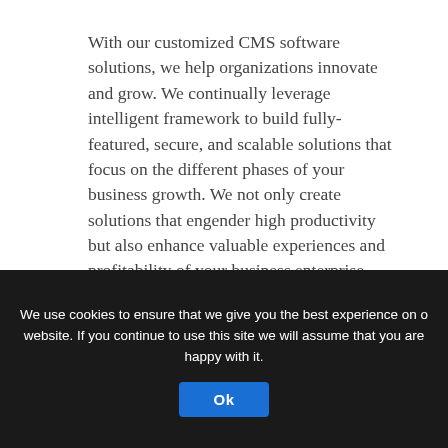With our customized CMS software solutions, we help organizations innovate and grow. We continually leverage intelligent framework to build fully-featured, secure, and scalable solutions that focus on the different phases of your business growth. We not only create solutions that engender high productivity but also enhance valuable experiences and profitability of your business enterprise. Through the design and development of custom Drupal solutions and
We use cookies to ensure that we give you the best experience on our website. If you continue to use this site we will assume that you are happy with it.
Ok